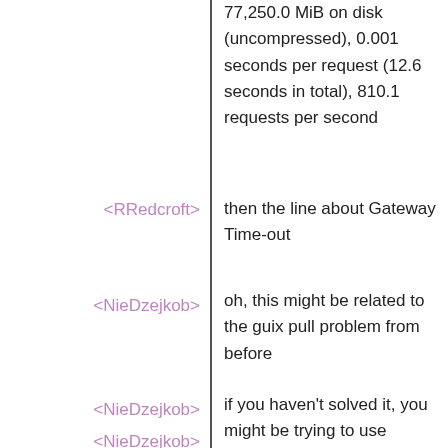77,250.0 MiB on disk (uncompressed), 0.001 seconds per request (12.6 seconds in total), 810.1 requests per second
<RRedcroft>
then the line about Gateway Time-out
<NieDzejkob>
oh, this might be related to the guix pull problem from before
<NieDzejkob>
if you haven't solved it, you might be trying to use package definitions from a year ago
<NieDzejkob>